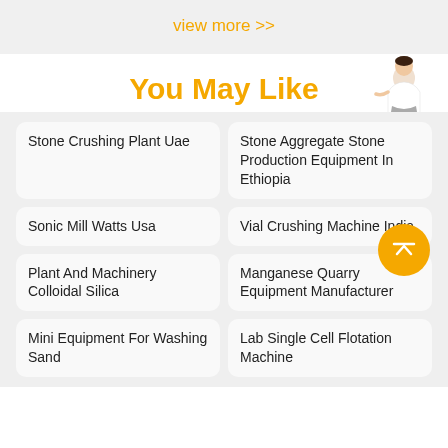view more >>
You May Like
[Figure (illustration): Person (woman in business attire) with a blue Free chat button widget in the top right corner]
Stone Crushing Plant Uae
Stone Aggregate Stone Production Equipment In Ethiopia
Sonic Mill Watts Usa
Vial Crushing Machine India
Plant And Machinery Colloidal Silica
Manganese Quarry Equipment Manufacturer
Mini Equipment For Washing Sand
Lab Single Cell Flotation Machine